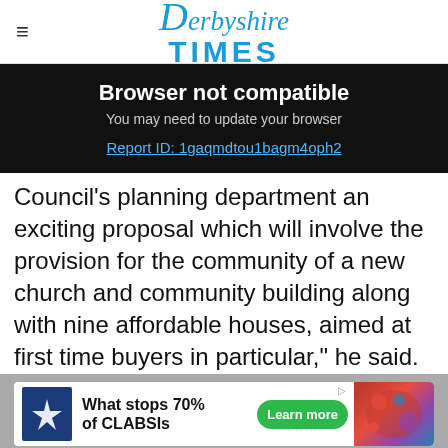Derbyshire Times
Browser not compatible
You may need to update your browser
Report ID: 1gaqmdtou1bagm4oph2
Council's planning department an exciting proposal which will involve the provision for the community of a new church and community building along with nine affordable houses, aimed at first time buyers in particular," he said.
[Figure (infographic): Advertisement banner: What stops 70% of CLABSIs - Learn more button with medical imagery]
"We have had the encouragement of the
Get 70% fewer ads. Start your 2-month trial for just £2 per month
Subscribe Today